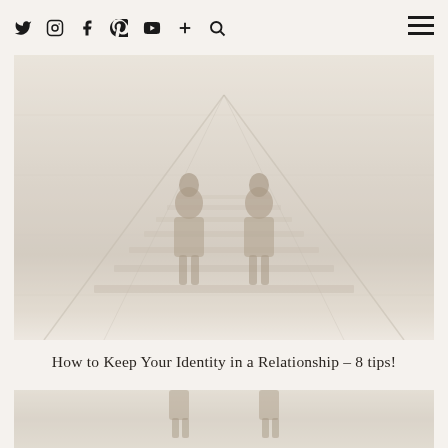Twitter Instagram Facebook Pinterest YouTube Plus Search [hamburger menu]
[Figure (photo): Hero image showing two figures (couple) from overhead/high angle on what appears to be a bridge or railway track structure, washed out and faded with beige/cream overlay tones]
How to Keep Your Identity in a Relationship – 8 tips!
[Figure (photo): Partial bottom crop of the same or related hero image, muted beige/grey tones]